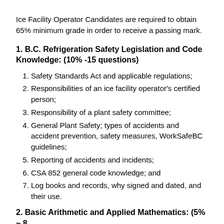Ice Facility Operator Candidates are required to obtain 65% minimum grade in order to receive a passing mark.
1. B.C. Refrigeration Safety Legislation and Code Knowledge: (10% -15 questions)
Safety Standards Act and applicable regulations;
Responsibilities of an ice facility operator's certified person;
Responsibility of a plant safety committee;
General Plant Safety; types of accidents and accident prevention, safety measures, WorkSafeBC guidelines;
Reporting of accidents and incidents;
CSA 852 general code knowledge; and
Log books and records, why signed and dated, and their use.
2. Basic Arithmetic and Applied Mathematics: (5% ~ 8